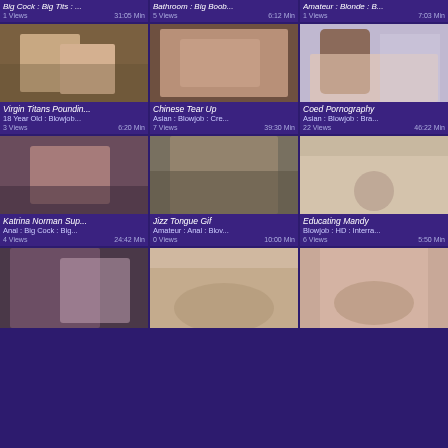[Figure (screenshot): Video grid thumbnail page showing adult video thumbnails in 3-column layout with titles, tags, view counts and durations]
Big Cock : Big Tits : ... | 1 Views | 31:05 Min
Bathroom : Big Boob... | 5 Views | 6:12 Min
Amateur : Blonde : B... | 1 Views | 7:03 Min
Virgin Titans Poundin... | 18 Year Old : Blowjo... | 3 Views | 6:20 Min
Chinese Tear Up | Asian : Blowjob : Cre... | 7 Views | 39:30 Min
Coed Pornography | Asian : Blowjob : Bra... | 22 Views | 46:22 Min
Katrina Norman Sup... | Anal : Big Cock : Big... | 4 Views | 24:42 Min
Jizz Tongue Gif | Amateur : Anal : Blov... | 0 Views | 10:00 Min
Educating Mandy | Blowjob : HD : Interra... | 6 Views | 5:50 Min